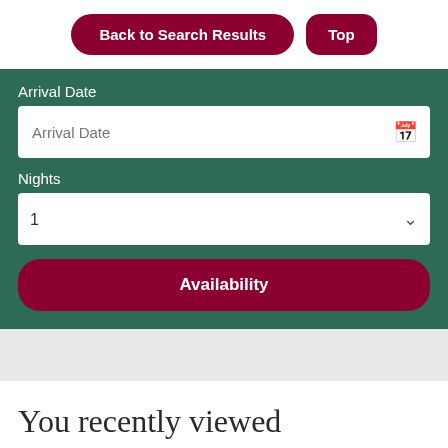[Figure (screenshot): Navigation buttons: 'Back to Search Results' and 'Top' (dark red rounded buttons)]
Arrival Date
Arrival Date (input placeholder)
Nights
1 (dropdown)
Availability
You recently viewed
Self-Catering